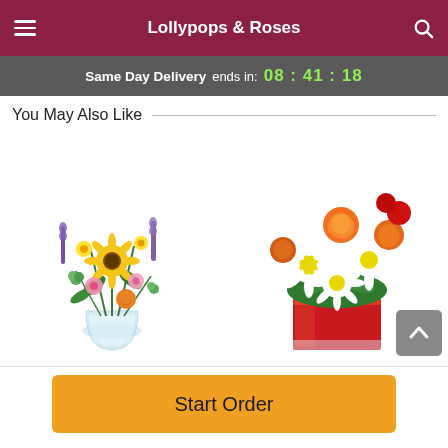Lollypops & Roses
Same Day Delivery ends in: 08 : 41 : 18
You May Also Like
[Figure (photo): Colorful mixed flower bouquet in a glass vase with sunflowers, purple flowers, yellow and pink flowers]
[Figure (photo): Orange roses and white daisies arrangement in a red square glass vase]
Start Order